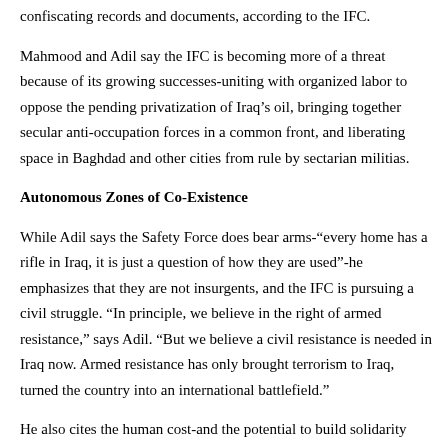confiscating records and documents, according to the IFC.
Mahmood and Adil say the IFC is becoming more of a threat because of its growing successes-uniting with organized labor to oppose the pending privatization of Iraq's oil, bringing together secular anti-occupation forces in a common front, and liberating space in Baghdad and other cities from rule by sectarian militias.
Autonomous Zones of Co-Existence
While Adil says the Safety Force does bear arms-"every home has a rifle in Iraq, it is just a question of how they are used"-he emphasizes that they are not insurgents, and the IFC is pursuing a civil struggle. "In principle, we believe in the right of armed resistance," says Adil. "But we believe a civil resistance is needed in Iraq now. Armed resistance has only brought terrorism to Iraq, turned the country into an international battlefield."
He also cites the human cost-and the potential to build solidarity with the